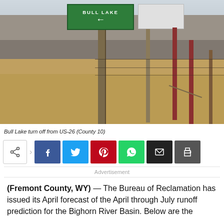[Figure (photo): Road sign pointing left to Bull Lake, with a wooden fence post and green hillside in the background. Sagebrush-covered hills, barbed wire fence, and dry grassland visible. Red fence posts on the right side.]
Bull Lake turn off from US-26 (County 10)
[Figure (infographic): Social media share bar with icons: native share, Facebook, Twitter, Pinterest, WhatsApp, Email, Print]
Advertisement
(Fremont County, WY) — The Bureau of Reclamation has issued its April forecast of the April through July runoff prediction for the Bighorn River Basin. Below are the